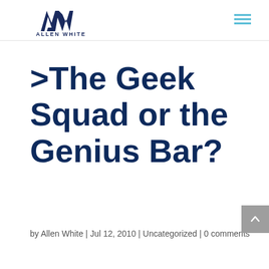[Figure (logo): Allen White logo with stylized AW monogram and text 'ALLEN WHITE' below]
>The Geek Squad or the Genius Bar?
by Allen White | Jul 12, 2010 | Uncategorized | 0 comments